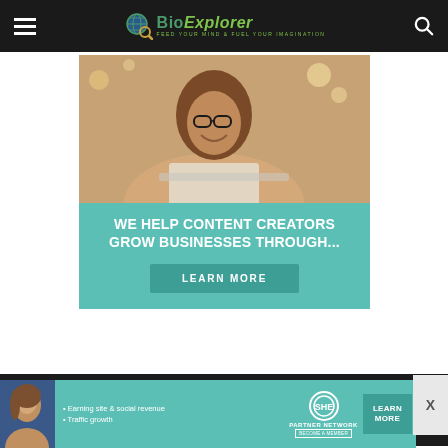BioExplorer - Feed Your Mind & Fuel Your Imagination
[Figure (infographic): Promotional banner with woman smiling at laptop, teal background, text: WE HELP CONTENT CREATORS GROW BUSINESSES THROUGH... with LEARN MORE button]
About Us  Privacy Policy  Contact Us  Disclaimer
Copyright © 1999-2022 BioExplorer.Net. All Rights Reserved.
[Figure (infographic): SHE Partner Network advertisement: woman photo, bullet points 'Earning site & social revenue' and 'Traffic growth', SHE logo, LEARN MORE button]